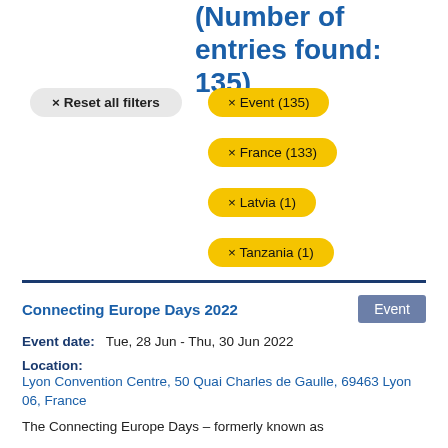Search results (Number of entries found: 135)
× Reset all filters
× Event (135)
× France (133)
× Latvia (1)
× Tanzania (1)
Connecting Europe Days 2022
Event
Event date:   Tue, 28 Jun - Thu, 30 Jun 2022
Location:
Lyon Convention Centre, 50 Quai Charles de Gaulle, 69463 Lyon 06, France
The Connecting Europe Days – formerly known as